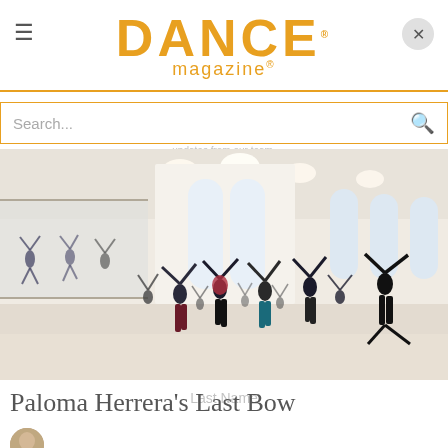DANCE magazine
Newsletter
Join our mailing list to receive the latest news and updates from our team.
Search...
[Figure (photo): A large bright dance studio with arched windows. Many dancers in various colorful outfits are rehearsing with arms raised, reflected in a large wall mirror on the left.]
Paloma Herrera's Last Bow